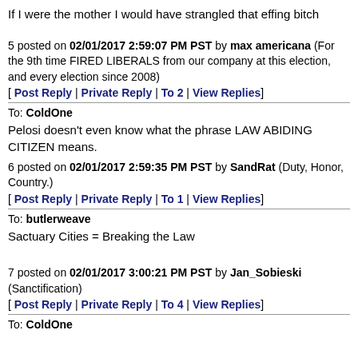If I were the mother I would have strangled that effing bitch
5 posted on 02/01/2017 2:59:07 PM PST by max americana (For the 9th time FIRED LIBERALS from our company at this election, and every election since 2008)
[ Post Reply | Private Reply | To 2 | View Replies]
To: ColdOne
Pelosi doesn't even know what the phrase LAW ABIDING CITIZEN means.
6 posted on 02/01/2017 2:59:35 PM PST by SandRat (Duty, Honor, Country.)
[ Post Reply | Private Reply | To 1 | View Replies]
To: butlerweave
Sactuary Cities = Breaking the Law
7 posted on 02/01/2017 3:00:21 PM PST by Jan_Sobieski (Sanctification)
[ Post Reply | Private Reply | To 4 | View Replies]
To: ColdOne